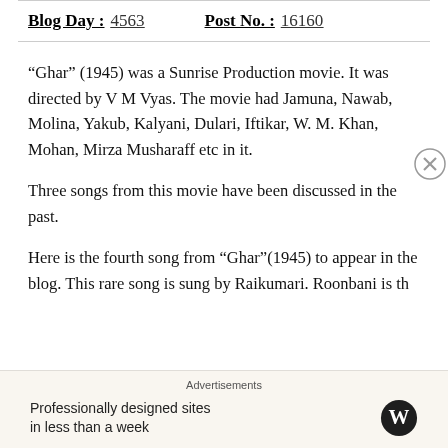Blog Day : 4563   Post No. : 16160
“Ghar” (1945) was a Sunrise Production movie. It was directed by V M Vyas. The movie had Jamuna, Nawab, Molina, Yakub, Kalyani, Dulari, Iftikar, W. M. Khan, Mohan, Mirza Musharaff etc in it.
Three songs from this movie have been discussed in the past.
Here is the fourth song from “Ghar”(1945) to appear in the blog. This rare song is sung by Raikumari. Roonbani is th…
Advertisements
Professionally designed sites in less than a week